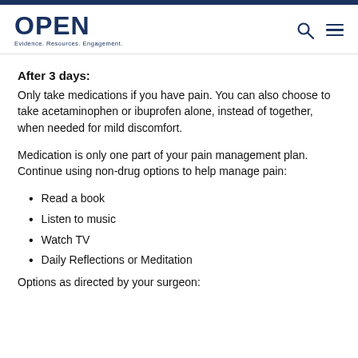OPEN — Evidence. Resources. Engagement.
After 3 days:
Only take medications if you have pain. You can also choose to take acetaminophen or ibuprofen alone, instead of together, when needed for mild discomfort.
Medication is only one part of your pain management plan. Continue using non-drug options to help manage pain:
Read a book
Listen to music
Watch TV
Daily Reflections or Meditation
Options as directed by your surgeon: